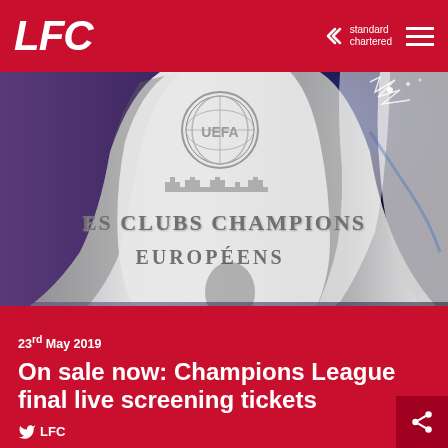LFC | Standard Chartered
[Figure (photo): Close-up photograph of the UEFA Champions League trophy showing the engraved text 'DES CLUBS CHAMPIONS EUROPÉENS' on the silver trophy body against a blurred purple/blue background]
23rd May 2019
On sale now: Champions League final live screening tickets
@LFC